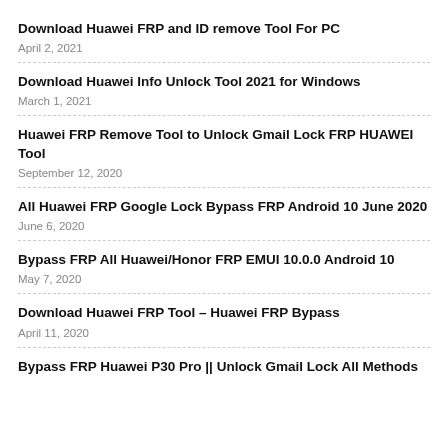Download Huawei FRP and ID remove Tool For PC
April 2, 2021
Download Huawei Info Unlock Tool 2021 for Windows
March 1, 2021
Huawei FRP Remove Tool to Unlock Gmail Lock FRP HUAWEI Tool
September 12, 2020
All Huawei FRP Google Lock Bypass FRP Android 10 June 2020
June 6, 2020
Bypass FRP All Huawei/Honor FRP EMUI 10.0.0 Android 10
May 7, 2020
Download Huawei FRP Tool – Huawei FRP Bypass
April 11, 2020
Bypass FRP Huawei P30 Pro || Unlock Gmail Lock All Methods